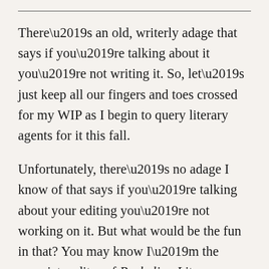There’s an old, writerly adage that says if you’re talking about it you’re not writing it. So, let’s just keep all our fingers and toes crossed for my WIP as I begin to query literary agents for it this fall.
Unfortunately, there’s no adage I know of that says if you’re talking about your editing you’re not working on it. But what would be the fun in that? You may know I’m the associate editor of Parhelion Literary Magazine, in charge of the features department. How I love my craft essays, book reviews, and author interviews! But you might not know that I got that gig because the magazine’s